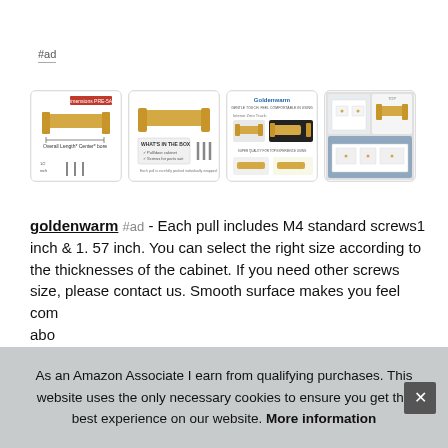#ad
[Figure (photo): Four product images of goldenwarm cabinet pulls: dimensions diagram, handle with what's in the box, Goldenwarm branded close-up, lifestyle room photos]
goldenwarm #ad - Each pull includes M4 standard screws1 inch & 1. 57 inch. You can select the right size according to the thicknesses of the cabinet. If you need other screws size, please contact us. Smooth surface makes you feel comfortable. More details about the product 1/2...
As an Amazon Associate I earn from qualifying purchases. This website uses the only necessary cookies to ensure you get the best experience on our website. More information